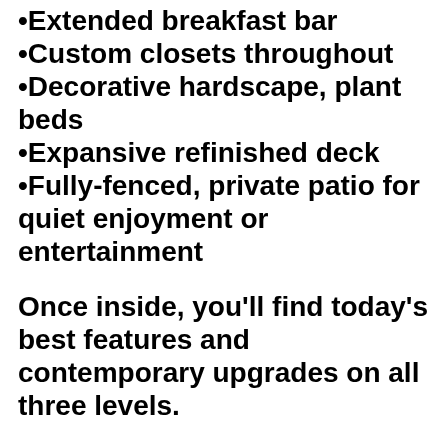•Extended breakfast bar
•Custom closets throughout
•Decorative hardscape, plant beds
•Expansive refinished deck
•Fully-fenced, private patio for quiet enjoyment or entertainment
Once inside, you'll find today's best features and contemporary upgrades on all three levels.